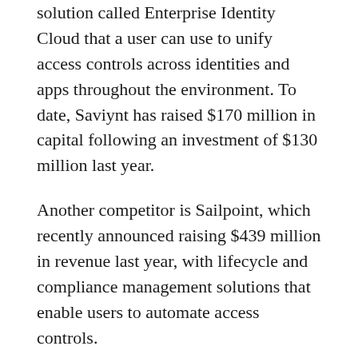solution called Enterprise Identity Cloud that a user can use to unify access controls across identities and apps throughout the environment. To date, Saviynt has raised $170 million in capital following an investment of $130 million last year.
Another competitor is Sailpoint, which recently announced raising $439 million in revenue last year, with lifecycle and compliance management solutions that enable users to automate access controls.
The main difference between Pathlock and these solutions, is its focus on combining data access controls with access visibility.
“Our key differentiation is our focus on business